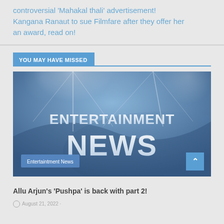controversial 'Mahakal thali' advertisement! Kangana Ranaut to sue Filmfare after they offer her an award, read on!
YOU MAY HAVE MISSED
[Figure (illustration): Entertainment News banner image with blue/grey background, stage lights, large white text reading ENTERTAINMENT NEWS]
Entertaintment News
Allu Arjun's 'Pushpa' is back with part 2!
August 21, 2022